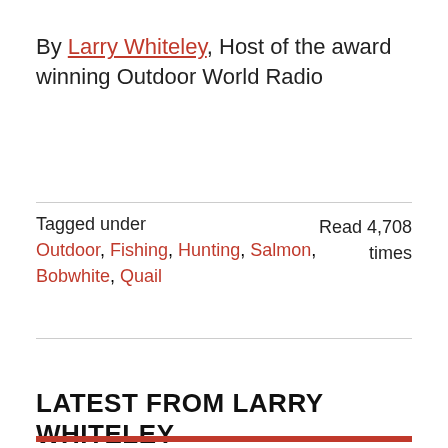By Larry Whiteley, Host of the award winning Outdoor World Radio
Tagged under
Outdoor, Fishing, Hunting, Salmon, Bobwhite, Quail
Read 4,708 times
LATEST FROM LARRY WHITELEY